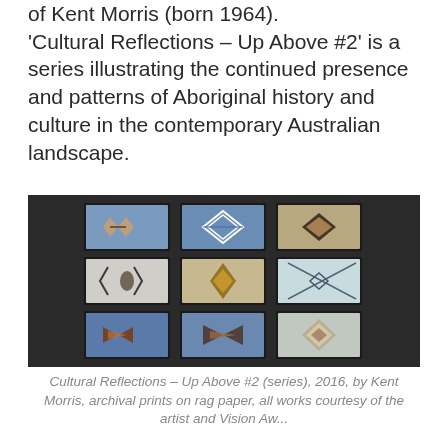of Kent Morris (born 1964). 'Cultural Reflections – Up Above #2' is a series illustrating the continued presence and patterns of Aboriginal history and culture in the contemporary Australian landscape.
[Figure (photo): Gallery installation photograph showing nine framed artworks arranged in a 3x3 grid on a dark wall. Each artwork features symmetrical geometric patterns inspired by Aboriginal motifs on blue or light backgrounds, displayed with white frames.]
Cultural Reflections – Up Above #2 (series), 2016, by Kent Morris, archival prints on rag paper, all works courtesy of the artist and Vision Aw...